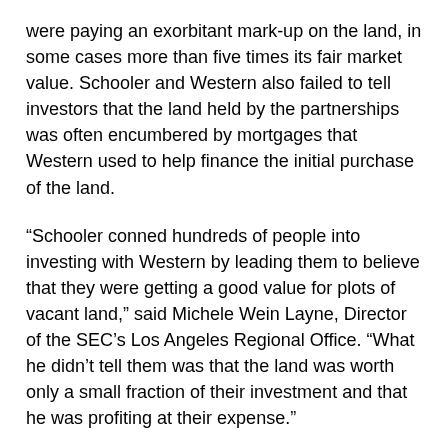were paying an exorbitant mark-up on the land, in some cases more than five times its fair market value. Schooler and Western also failed to tell investors that the land held by the partnerships was often encumbered by mortgages that Western used to help finance the initial purchase of the land.
“Schooler conned hundreds of people into investing with Western by leading them to believe that they were getting a good value for plots of vacant land,” said Michele Wein Layne, Director of the SEC’s Los Angeles Regional Office. “What he didn’t tell them was that the land was worth only a small fraction of their investment and that he was profiting at their expense.”
The SEC’s complaint filed in federal court in San Diego alleges that Western and Schooler misled investors since 2007 by providing them with comparative prices or “comps” of supposedly similar plots of land that had sold for prices higher than those offered by Western. In reality, the real estate comps that Schooler and Western provided were in no way comparable to the land sold by Western. The SEC